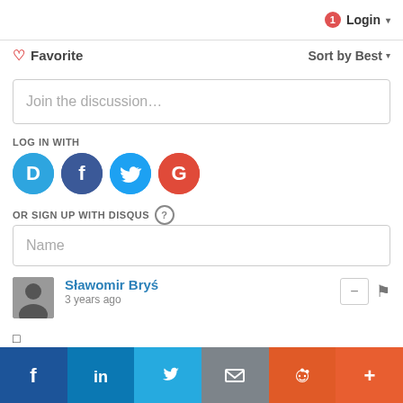1 Login ▾
♡ Favorite    Sort by Best ▾
Join the discussion…
LOG IN WITH
[Figure (logo): Four social login icons: Disqus (blue D), Facebook (dark blue f), Twitter (blue bird), Google (red G)]
OR SIGN UP WITH DISQUS ?
Name
Sławomir Bryś
3 years ago
□
↑ | ↓  Reply
[Figure (infographic): Bottom social share bar with icons: Facebook, LinkedIn, Twitter, Email, Reddit, More (+)]